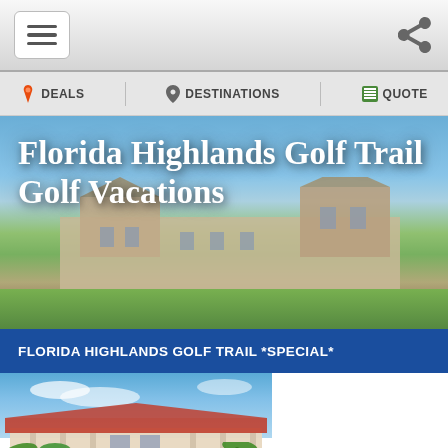Navigation bar with hamburger menu and phone icon
DEALS | DESTINATIONS | QUOTE
[Figure (photo): Hero banner showing a large stone building/resort on a golf course with blue sky background, overlaid with white bold text reading 'Florida Highlands Golf Trail Golf Vacations']
Florida Highlands Golf Trail Golf Vacations
FLORIDA HIGHLANDS GOLF TRAIL *SPECIAL*
[Figure (photo): Photograph of a resort clubhouse building with red tile roof, palm trees, and blue sky with white clouds]